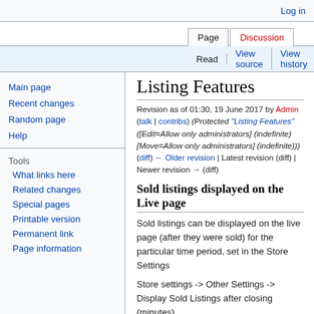Log in
Page | Discussion | Read | View source | View history | Search
Listing Features
Revision as of 01:30, 19 June 2017 by Admin (talk | contribs) (Protected "Listing Features" ([Edit=Allow only administrators] (indefinite) [Move=Allow only administrators] (indefinite))) (diff) ← Older revision | Latest revision (diff) | Newer revision → (diff)
Sold listings displayed on the Live page
Sold listings can be displayed on the live page (after they were sold) for the particular time period, set in the Store Settings
Store settings -> Other Settings -> Display Sold Listings after closing (minutes)